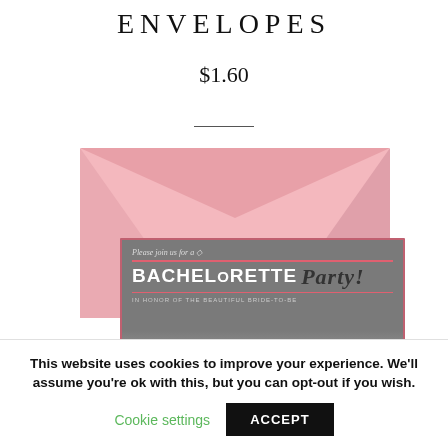ENVELOPES
$1.60
[Figure (photo): Pink envelopes with a bachelorette party card overlay. The card reads 'Please join us for a BACHELORETTE Party! IN HONOR OF THE BEAUTIFUL BRIDE-TO-BE']
This website uses cookies to improve your experience. We'll assume you're ok with this, but you can opt-out if you wish.
Cookie settings   ACCEPT